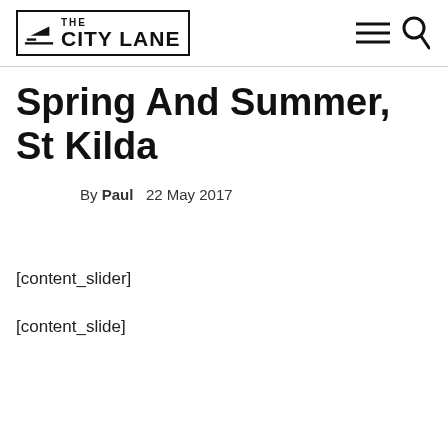THE CITY LANE
Spring And Summer, St Kilda
By Paul   22 May 2017
[content_slider]
[content_slide]